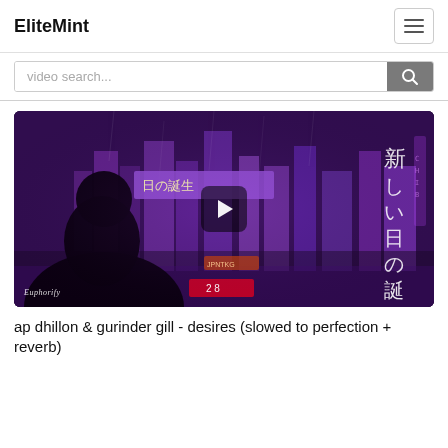EliteMint
[Figure (screenshot): Video thumbnail showing a cyberpunk/anime-style cityscape with purple neon lights and Japanese text, silhouette of a person in foreground, play button overlay, Euphorify watermark at bottom left]
ap dhillon & gurinder gill - desires (slowed to perfection + reverb)